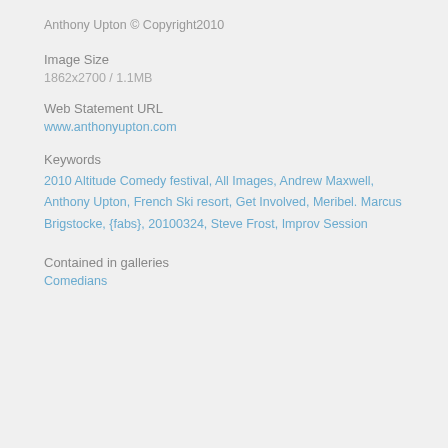Anthony Upton © Copyright2010
Image Size
1862x2700 / 1.1MB
Web Statement URL
www.anthonyupton.com
Keywords
2010 Altitude Comedy festival, All Images, Andrew Maxwell, Anthony Upton, French Ski resort, Get Involved, Meribel. Marcus Brigstocke, {fabs}, 20100324, Steve Frost, Improv Session
Contained in galleries
Comedians